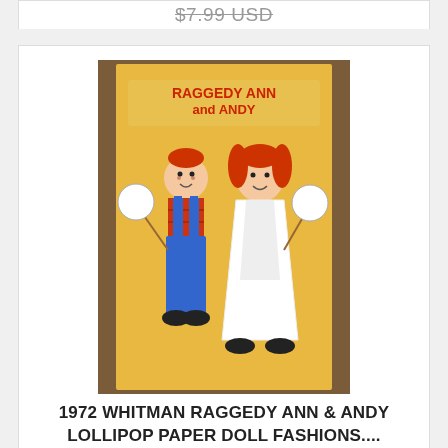$7.99 USD
[Figure (photo): Raggedy Ann and Andy Lollipop Paper Doll Fashions book cover, yellow background with illustrated Raggedy Ann and Andy characters]
1972 WHITMAN RAGGEDY ANN & ANDY LOLLIPOP PAPER DOLL FASHIONS....
0 bids
$7.99 USD
[Figure (photo): Vintage paper doll card with blonde female figure in blue bonnet on pink background]